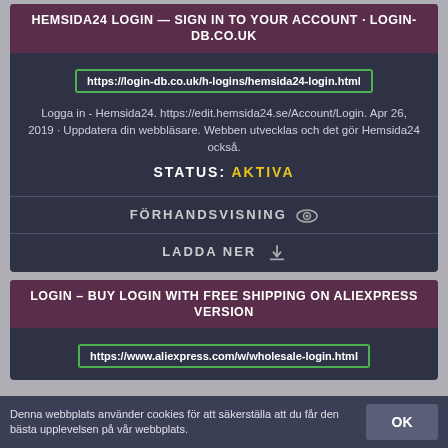HEMSIDA24 LOGIN — SIGN IN TO YOUR ACCOUNT · LOGIN-DB.CO.UK
https://login-db.co.uk/h-logins/hemsida24-login.html
Logga in - Hemsida24. https://edit.hemsida24.se/Account/Login. Apr 26, 2019 · Uppdatera din webbläsare. Webben utvecklas och det gör Hemsida24 också.
STATUS: AKTIVA
FÖRHANDSVISNING
LADDA NER
LOGIN – BUY LOGIN WITH FREE SHIPPING ON ALIEXPRESS VERSION
https://www.aliexpress.com/w/wholesale-login.html
Denna webbplats använder cookies för att säkerställa att du får den bästa upplevelsen på vår webbplats.